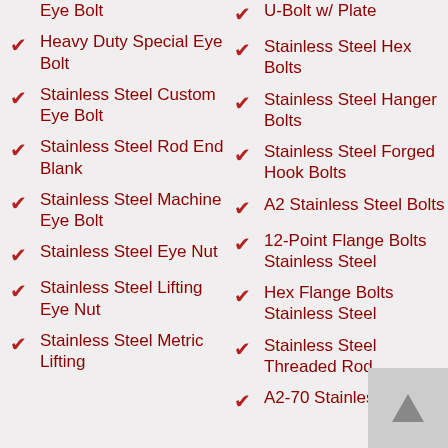Eye Bolt
Heavy Duty Special Eye Bolt
Stainless Steel Custom Eye Bolt
Stainless Steel Rod End Blank
Stainless Steel Machine Eye Bolt
Stainless Steel Eye Nut
Stainless Steel Lifting Eye Nut
Stainless Steel Metric Lifting
U-Bolt w/ Plate
Stainless Steel Hex Bolts
Stainless Steel Hanger Bolts
Stainless Steel Forged Hook Bolts
A2 Stainless Steel Bolts
12-Point Flange Bolts Stainless Steel
Hex Flange Bolts Stainless Steel
Stainless Steel Threaded Rod
A2-70 Stainless